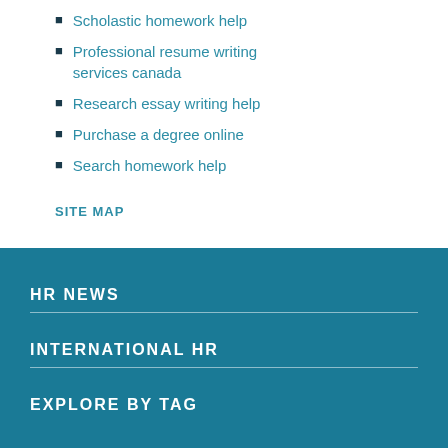Scholastic homework help
Professional resume writing services canada
Research essay writing help
Purchase a degree online
Search homework help
SITE MAP
HR NEWS
INTERNATIONAL HR
EXPLORE BY TAG